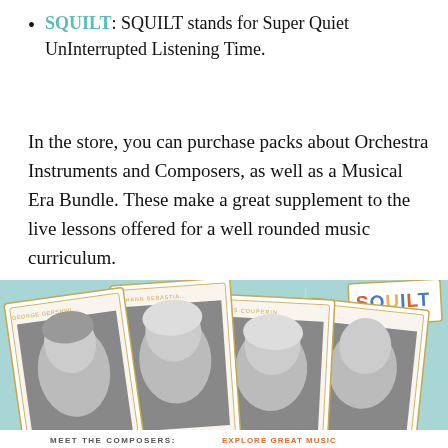SQUILT: SQUILT stands for Super Quiet UnInterrupted Listening Time.
In the store, you can purchase packs about Orchestra Instruments and Composers, as well as a Musical Era Bundle. These make a great supplement to the live lessons offered for a well rounded music curriculum.
[Figure (photo): Promotional image showing fanned-out composer cards with black and white portraits of George Gershwin, Johann Sebastian Bach, Louis Couperin, and another composer, with a SQUILT logo in the top right corner and teal music-note background. A banner at the bottom reads MEET THE COMPOSERS.]